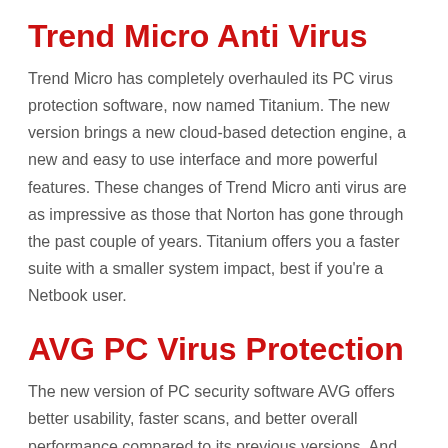Trend Micro Anti Virus
Trend Micro has completely overhauled its PC virus protection software, now named Titanium. The new version brings a new cloud-based detection engine, a new and easy to use interface and more powerful features. These changes of Trend Micro anti virus are as impressive as those that Norton has gone through the past couple of years. Titanium offers you a faster suite with a smaller system impact, best if you're a Netbook user.
AVG PC Virus Protection
The new version of PC security software AVG offers better usability, faster scans, and better overall performance compared to its previous versions. And yes, it does install more quickly, the scans are faster, and some tweaks to the interface have made it easier to use. However, the changes to